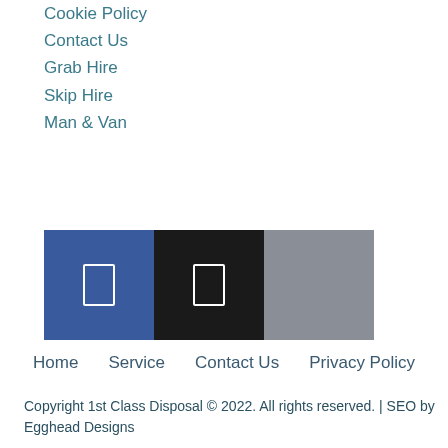Cookie Policy
Contact Us
Grab Hire
Skip Hire
Man & Van
[Figure (other): Three social media icon buttons: blue (Facebook), black (another platform), and gray (another platform), each showing a white rectangle icon.]
Home   Service   Contact Us   Privacy Policy
Copyright 1st Class Disposal © 2022. All rights reserved. | SEO by Egghead Designs